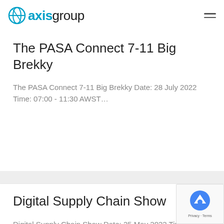axis group
The PASA Connect 7-11 Big Brekky
The PASA Connect 7-11 Big Brekky Date: 28 July 2022 Time: 07:00 - 11:30 AWST…
Digital Supply Chain Show
Digital Supply Chain Show Date: 25 May 2022 Time: 08:00 - 17:00 GST Venue: Address…